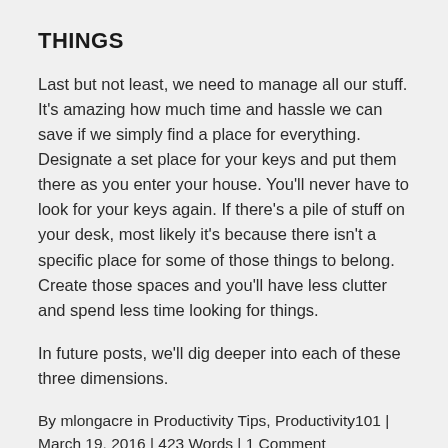THINGS
Last but not least, we need to manage all our stuff. It's amazing how much time and hassle we can save if we simply find a place for everything. Designate a set place for your keys and put them there as you enter your house. You'll never have to look for your keys again. If there's a pile of stuff on your desk, most likely it's because there isn't a specific place for some of those things to belong. Create those spaces and you'll have less clutter and spend less time looking for things.
In future posts, we'll dig deeper into each of these three dimensions.
By mlongacre in Productivity Tips, Productivity101  |  March 19, 2016  |  423 Words  |  1 Comment